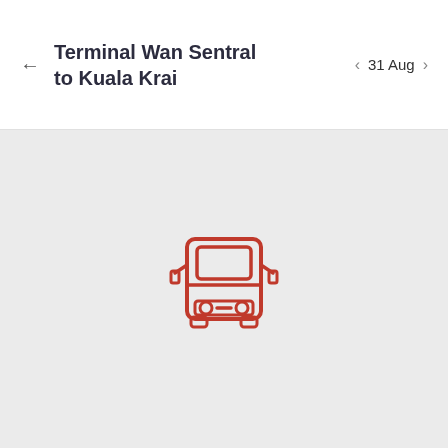Terminal Wan Sentral to Kuala Krai
31 Aug
[Figure (illustration): A red bus icon shown from the front, centered on a light gray background, indicating no results or empty state.]